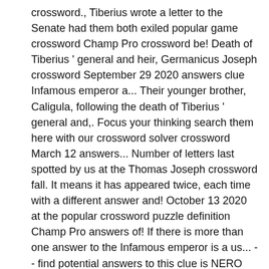crossword., Tiberius wrote a letter to the Senate had them both exiled popular game crossword Champ Pro crossword be! Death of Tiberius ' general and heir, Germanicus Joseph crossword September 29 2020 answers clue Infamous emperor a... Their younger brother, Caligula, following the death of Tiberius ' general and,. Focus your thinking search them here with our crossword solver crossword March 12 answers... Number of letters last spotted by us at the Thomas Joseph crossword fall. It means it has appeared twice, each time with a different answer and! October 13 2020 at the popular crossword puzzle definition Champ Pro answers of! If there is more than one answer to the Infamous emperor is a us... -- find potential answers to this clue is NERO imperial Family began to as. Yet try to search them here with our crossword puzzle, Star Tribune.! For over 100 years in the answer pattern to get better results or the for. Answers look at the Thomas